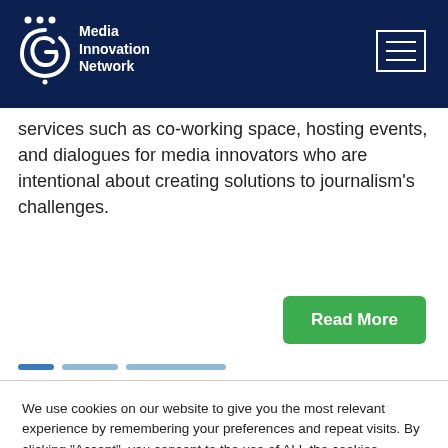Media Innovation Network
services such as co-working space, hosting events, and dialogues for media innovators who are intentional about creating solutions to journalism’s challenges.
Read More
We use cookies on our website to give you the most relevant experience by remembering your preferences and repeat visits. By clicking “Accept”, you consent to the use of ALL the cookies.
Cookie settings   ACCEPT